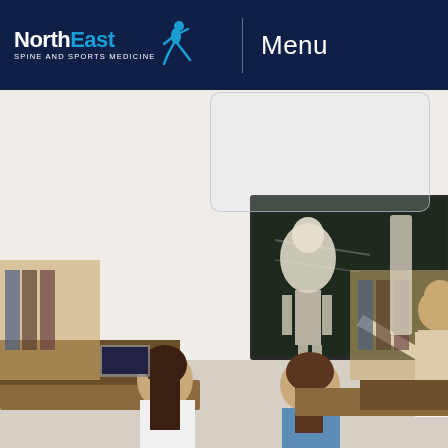[Figure (photo): A medical educator in a white lab coat pointing at a chalkboard next to a full human skeleton model, lecturing to a classroom of students seated at desks. Another spine model is visible in the background on the right. Students are taking notes.]
NorthEast SPINE and SPORTS MEDICINE  Menu